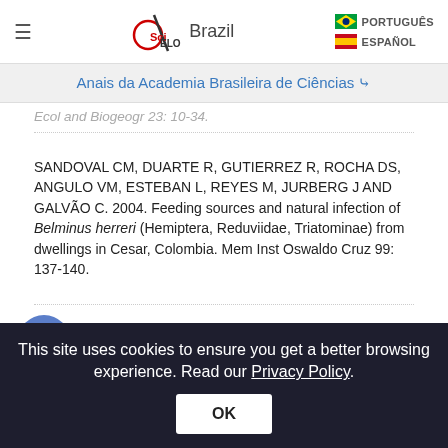SciELO Brazil | PORTUGUÊS | ESPAÑOL
Anais da Academia Brasileira de Ciências ▾
Ecol and Biogeogr 23: 10-34.
SANDOVAL CM, DUARTE R, GUTIERREZ R, ROCHA DS, ANGULO VM, ESTEBAN L, REYES M, JURBERG J AND GALVÃO C. 2004. Feeding sources and natural infection of Belminus herreri (Hemiptera, Reduviidae, Triatominae) from dwellings in Cesar, Colombia. Mem Inst Oswaldo Cruz 99: 137-140.
SCHOFIELD CJ. 1994. Triatominae: biology and control. Eurocommunica Publications
This site uses cookies to ensure you get a better browsing experience. Read our Privacy Policy.